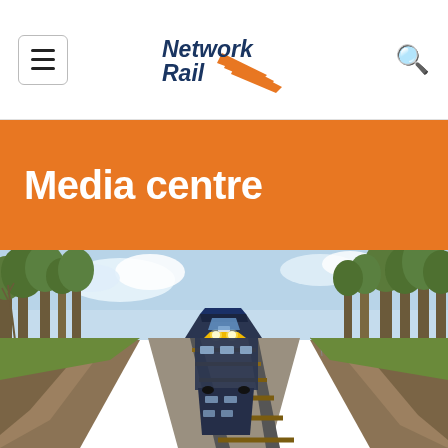NetworkRail – header with menu and search
Media centre
[Figure (photo): Aerial view of a passenger train travelling along a railway track through a lush green countryside with trees on both sides, earthworks visible on embankments.]